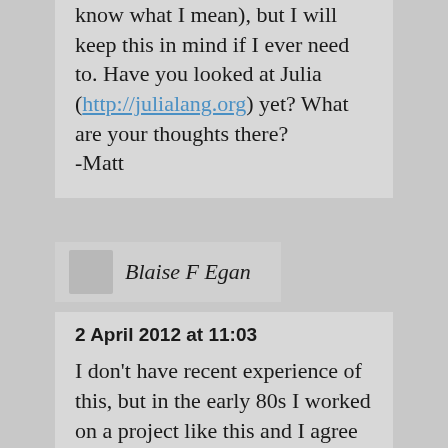know what I mean), but I will keep this in mind if I ever need to. Have you looked at Julia (http://julialang.org) yet? What are your thoughts there?
-Matt
Blaise F Egan
2 April 2012 at 11:03
I don't have recent experience of this, but in the early 80s I worked on a project like this and I agree with your choices. Doing the file handling in Fortran was not an option. Doing the maths in Cobol was an option, as it we were doing everything on an ICL